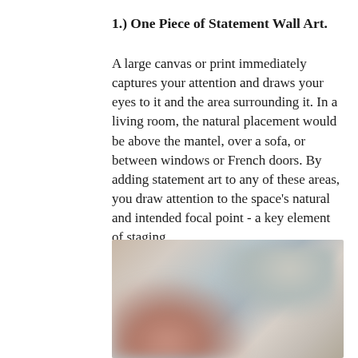1.) One Piece of Statement Wall Art.
A large canvas or print immediately captures your attention and draws your eyes to it and the area surrounding it. In a living room, the natural placement would be above the mantel, over a sofa, or between windows or French doors. By adding statement art to any of these areas, you draw attention to the space's natural and intended focal point - a key element of staging.
[Figure (photo): A blurred/out-of-focus interior room photo showing a living room area with muted colors — pinkish-mauve and gray-blue tones suggesting furniture and walls.]